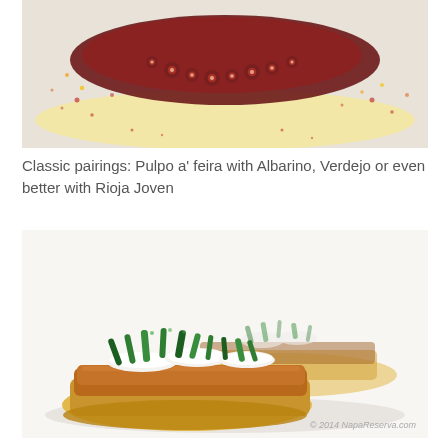[Figure (photo): Close-up photo of Pulpo a feira (Galician octopus) with red paprika spice and yellow sauce on a white plate]
Classic pairings: Pulpo a' feira with Albarino, Verdejo or even better with Rioja Joven
[Figure (photo): Close-up photo of food tapas - bread topped with meat spread, white slices and green herbs/seaweed, with © 2014 NapaReserva.com watermark]